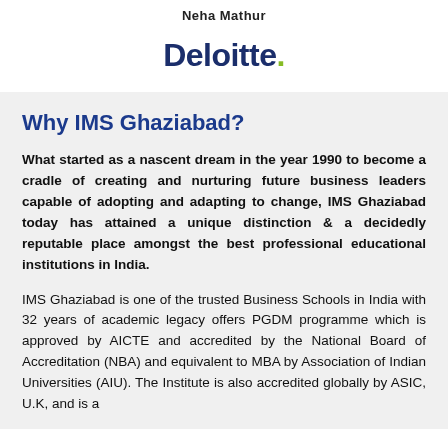Neha Mathur
[Figure (logo): Deloitte logo with blue text and green dot]
Why IMS Ghaziabad?
What started as a nascent dream in the year 1990 to become a cradle of creating and nurturing future business leaders capable of adopting and adapting to change, IMS Ghaziabad today has attained a unique distinction & a decidedly reputable place amongst the best professional educational institutions in India.
IMS Ghaziabad is one of the trusted Business Schools in India with 32 years of academic legacy offers PGDM programme which is approved by AICTE and accredited by the National Board of Accreditation (NBA) and equivalent to MBA by Association of Indian Universities (AIU). The Institute is also accredited globally by ASIC, U.K, and is a